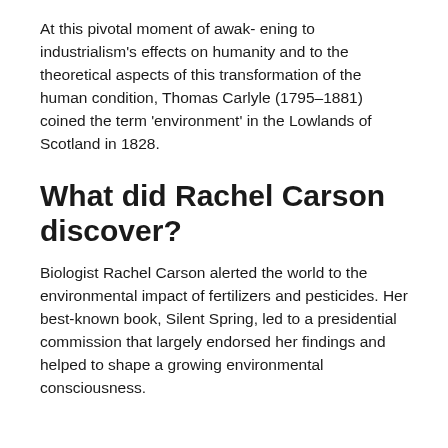At this pivotal moment of awak- ening to industrialism's effects on humanity and to the theoretical aspects of this transformation of the human condition, Thomas Carlyle (1795–1881) coined the term 'environment' in the Lowlands of Scotland in 1828.
What did Rachel Carson discover?
Biologist Rachel Carson alerted the world to the environmental impact of fertilizers and pesticides. Her best-known book, Silent Spring, led to a presidential commission that largely endorsed her findings and helped to shape a growing environmental consciousness.